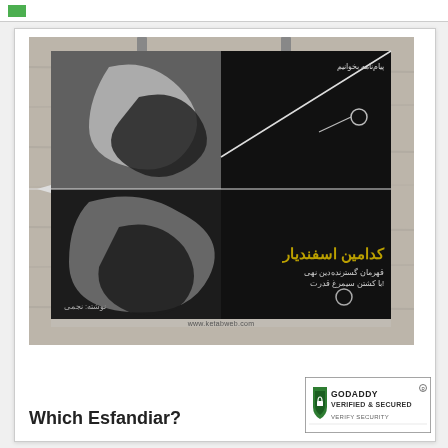[Figure (illustration): Book cover poster for 'Which Esfandiar?' hanging on a wooden plank background with two metal clips. The poster has a dark background with Persian calligraphy art and text. Bottom shows www.ketabweb.com]
Which Esfandiar?
[Figure (logo): GoDaddy Verified & Secured badge with shield icon]